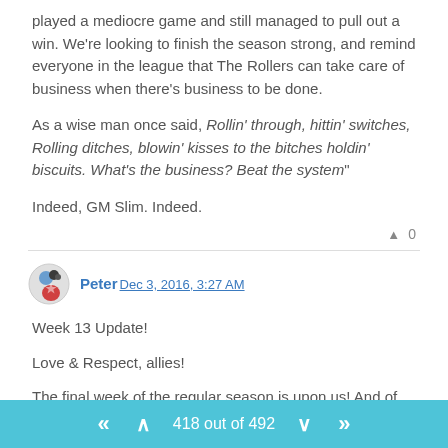played a mediocre game and still managed to pull out a win. We're looking to finish the season strong, and remind everyone in the league that The Rollers can take care of business when there's business to be done.
As a wise man once said, Rollin' through, hittin' switches, Rolling ditches, blowin' kisses to the bitches holdin' biscuits. What's the business? Beat the system"
Indeed, GM Slim. Indeed.
▲ 0
Peter Dec 3, 2016, 3:27 AM
Week 13 Update!
Love & Respect, allies!
The final week of the regular season is upon us! And of course drama ensues! So many playoff spots on the line! And because of that we're not gonna waste our time on silly things. Time for a quick recap and
418 out of 492